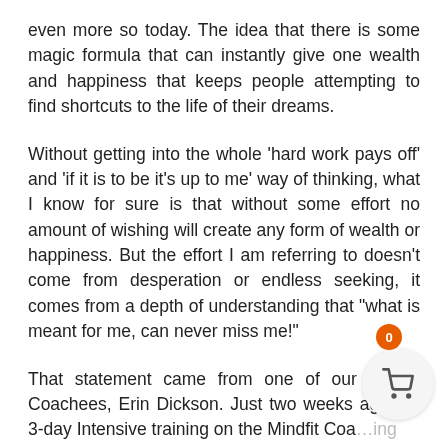even more so today. The idea that there is some magic formula that can instantly give one wealth and happiness that keeps people attempting to find shortcuts to the life of their dreams.
Without getting into the whole 'hard work pays off' and 'if it is to be it's up to me' way of thinking, what I know for sure is that without some effort no amount of wishing will create any form of wealth or happiness. But the effort I am referring to doesn't come from desperation or endless seeking, it comes from a depth of understanding that "what is meant for me, can never miss me!"
That statement came from one of our Mindfit Coachees, Erin Dickson. Just two weeks ago, on 3-day Intensive training on the Mindfit Coaching